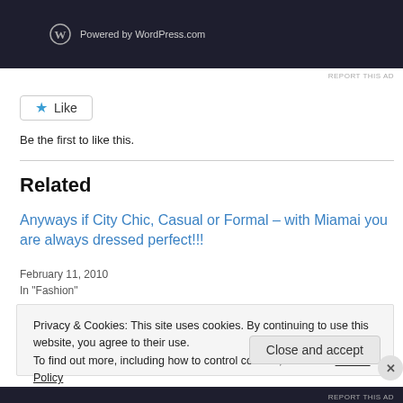[Figure (screenshot): Dark WordPress.com powered banner at top of page]
REPORT THIS AD
[Figure (other): Like button with blue star icon]
Be the first to like this.
Related
Anyways if City Chic, Casual or Formal – with Miamai you are always dressed perfect!!!
February 11, 2010
In "Fashion"
Privacy & Cookies: This site uses cookies. By continuing to use this website, you agree to their use.
To find out more, including how to control cookies, see here: Cookie Policy